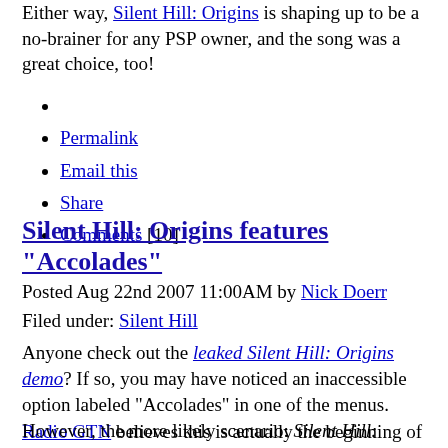Either way, Silent Hill: Origins is shaping up to be a no-brainer for any PSP owner, and the song was a great choice, too!
Permalink
Email this
Share
Comments [10]
Silent Hill: Origins features "Accolades"
Posted Aug 22nd 2007 11:00AM by Nick Doerr
Filed under: Silent Hill
Anyone check out the leaked Silent Hill: Origins demo? If so, you may have noticed an inaccessible option labeled "Accolades" in one of the menus. Radio GTN believes this is actually the beginning of a PSP version of 360's "Achievements" system. It's obvious if you think about what an accolade is -- an award, basically.
However, the more likely scenario: Silent Hill: Origins will have